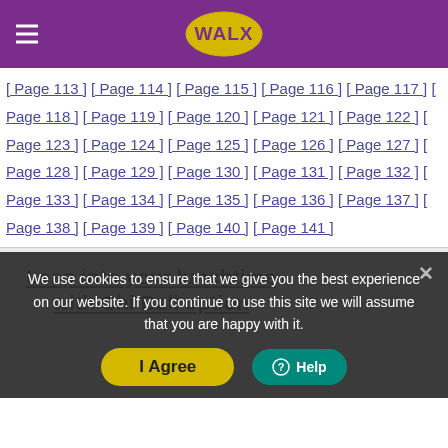WALX
[ Page 113 ] [ Page 114 ] [ Page 115 ] [ Page 116 ] [ Page 117 ] [ Page 118 ] [ Page 119 ] [ Page 120 ] [ Page 121 ] [ Page 122 ] [ Page 123 ] [ Page 124 ] [ Page 125 ] [ Page 126 ] [ Page 127 ] [ Page 128 ] [ Page 129 ] [ Page 130 ] [ Page 131 ] [ Page 132 ] [ Page 133 ] [ Page 134 ] [ Page 135 ] [ Page 136 ] [ Page 137 ] [ Page 138 ] [ Page 139 ] [ Page 140 ] [ Page 141 ]
Leap into your lunchtime with Chi Ball option
We use cookies to ensure that we give you the best experience on our website. If you continue to use this site we will assume that you are happy with it.
I Agree
Help